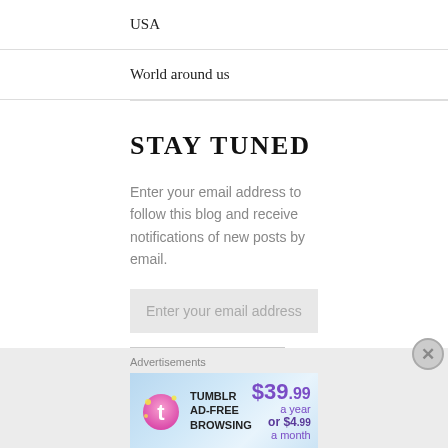USA
World around us
STAY TUNED
Enter your email address to follow this blog and receive notifications of new posts by email.
Enter your email address
FOLLOW
Advertisements
[Figure (other): Tumblr Ad-Free Browsing advertisement banner showing $39.99 a year or $4.99 a month pricing with Tumblr logo]